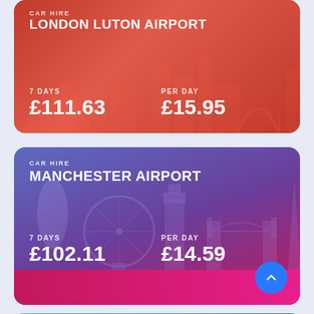[Figure (infographic): Car hire price card for London Luton Airport showing 7 days £111.63 and per day £15.95, with reddish gradient background and city skyline silhouette]
[Figure (infographic): Car hire price card for Manchester Airport showing 7 days £102.11 and per day £14.59, with purple/pink gradient background and London skyline silhouette (Gherkin, London Eye, Big Ben, Tower Bridge, The Shard)]